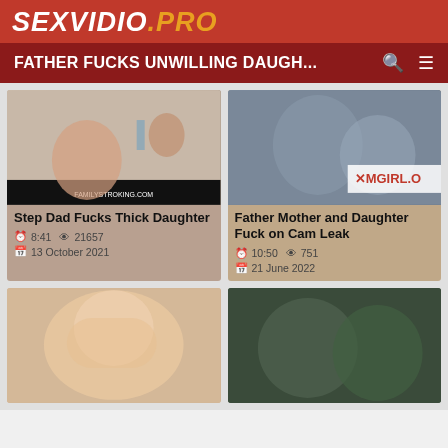SEXVIDIO.PRO
FATHER FUCKS UNWILLING DAUGH...
[Figure (photo): Video thumbnail: Step Dad Fucks Thick Daughter - familystroking.com]
Step Dad Fucks Thick Daughter
8:41  21657
13 October 2021
[Figure (photo): Video thumbnail: Father Mother and Daughter Fuck on Cam Leak - camgirl watermark]
Father Mother and Daughter Fuck on Cam Leak
10:50  751
21 June 2022
[Figure (photo): Video thumbnail: blonde close-up]
[Figure (photo): Video thumbnail: black and white scene]